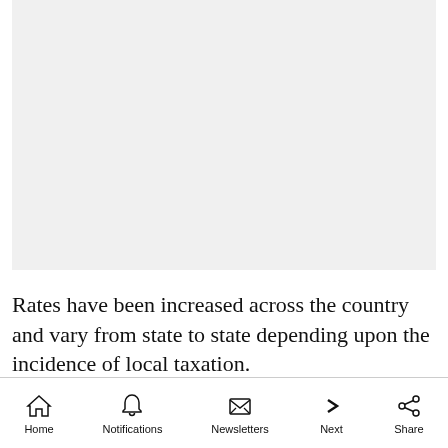[Figure (other): Blank light gray rectangular image placeholder area]
Rates have been increased across the country and vary from state to state depending upon the incidence of local taxation.
Home  Notifications  Newsletters  Next  Share